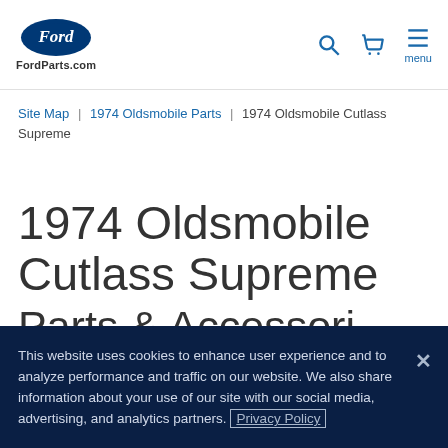FordParts.com
Site Map | 1974 Oldsmobile Parts | 1974 Oldsmobile Cutlass Supreme
1974 Oldsmobile Cutlass Supreme Parts & Accessories
This website uses cookies to enhance user experience and to analyze performance and traffic on our website. We also share information about your use of our site with our social media, advertising, and analytics partners. Privacy Policy